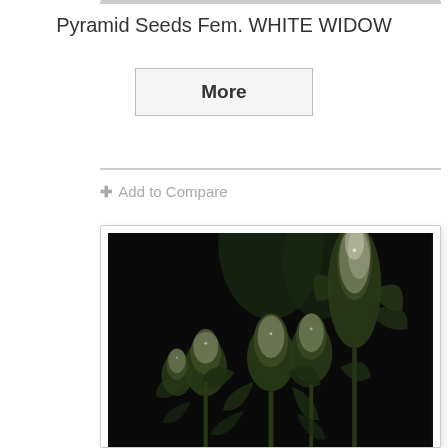Pyramid Seeds Fem. WHITE WIDOW
More
+ Add to Compare
[Figure (photo): Cannabis plant (White Widow strain) with dense frosty buds photographed against a black background. Multiple cola formations visible with white trichome-covered flowers.]